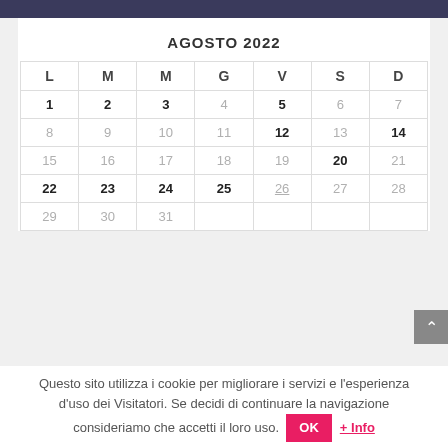AGOSTO 2022
| L | M | M | G | V | S | D |
| --- | --- | --- | --- | --- | --- | --- |
| 1 | 2 | 3 | 4 | 5 | 6 | 7 |
| 8 | 9 | 10 | 11 | 12 | 13 | 14 |
| 15 | 16 | 17 | 18 | 19 | 20 | 21 |
| 22 | 23 | 24 | 25 | 26 | 27 | 28 |
| 29 | 30 | 31 |  |  |  |  |
Questo sito utilizza i cookie per migliorare i servizi e l'esperienza d'uso dei Visitatori. Se decidi di continuare la navigazione consideriamo che accetti il loro uso. OK + Info